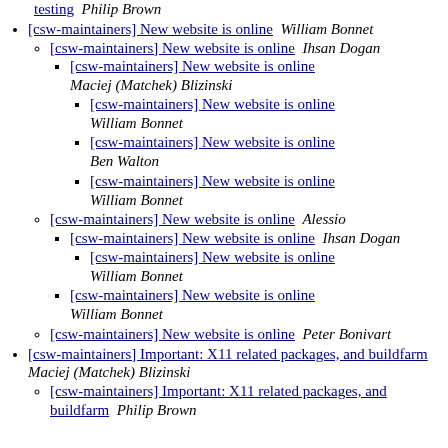testing  Philip Brown
[csw-maintainers] New website is online  William Bonnet
[csw-maintainers] New website is online  Ihsan Dogan
[csw-maintainers] New website is online  Maciej (Matchek) Blizinski
[csw-maintainers] New website is online  William Bonnet
[csw-maintainers] New website is online  Ben Walton
[csw-maintainers] New website is online  William Bonnet
[csw-maintainers] New website is online  Alessio
[csw-maintainers] New website is online  Ihsan Dogan
[csw-maintainers] New website is online  William Bonnet
[csw-maintainers] New website is online  William Bonnet
[csw-maintainers] New website is online  Peter Bonivart
[csw-maintainers] Important: X11 related packages, and buildfarm  Maciej (Matchek) Blizinski
[csw-maintainers] Important: X11 related packages, and buildfarm  Philip Brown